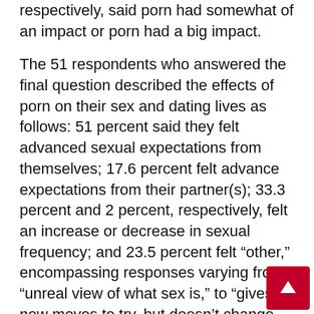respectively, said porn had somewhat of an impact or porn had a big impact.
The 51 respondents who answered the final question described the effects of porn on their sex and dating lives as follows: 51 percent said they felt advanced sexual expectations from themselves; 17.6 percent felt advance expectations from their partner(s); 33.3 percent and 2 percent, respectively, felt an increase or decrease in sexual frequency; and 23.5 percent felt “other,” encompassing responses varying from “unreal view of what sex is,” to “gives new moves to try, but doesn’t change expectations or frequency.”
So what does it all mean, besides that I’m a novice statistician? Well, because of my question limit, I was unable to ask about gender breakdown. Without tha can say that 26 people of the 51 people – 51 percent –